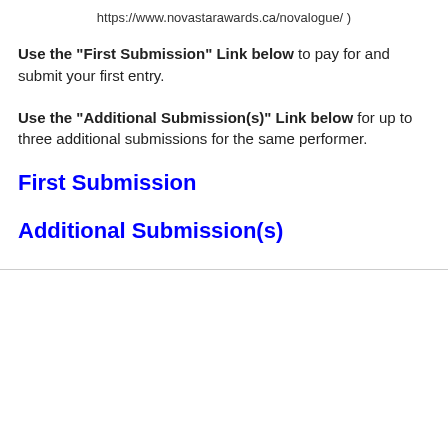https://www.novastarawards.ca/novalogue/)
Use the “First Submission” Link below to pay for and submit your first entry.
Use the “Additional Submission(s)” Link below for up to three additional submissions for the same performer.
First Submission
Additional Submission(s)